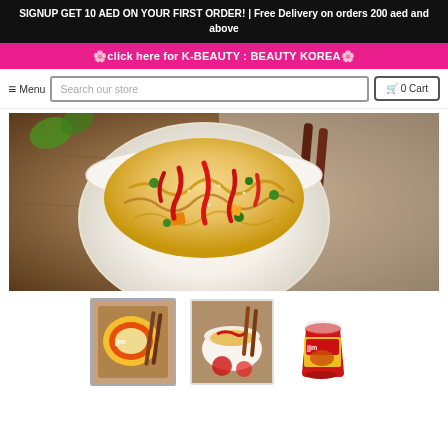SIGNUP GET 10 AED ON YOUR FIRST ORDER! | Free Delivery on orders 200 aed and above
🌸click here for K-BEAUTY : BEAUTY KOREA🌸
≡ Menu
Search our store
🛒 0 Cart
[Figure (photo): Large hero image of a white bowl filled with spicy Korean instant noodles topped with red chili peppers, green peas, orange vegetables, chopsticks resting on wooden board background]
[Figure (photo): Thumbnail 1: Top-down view of cup noodle product with colorful packaging and chopsticks on wooden tray]
[Figure (photo): Thumbnail 2: Side view of bowl of instant noodles with red toppings and chopsticks]
[Figure (photo): Thumbnail 3: Standalone cup noodle product with red and yellow packaging]